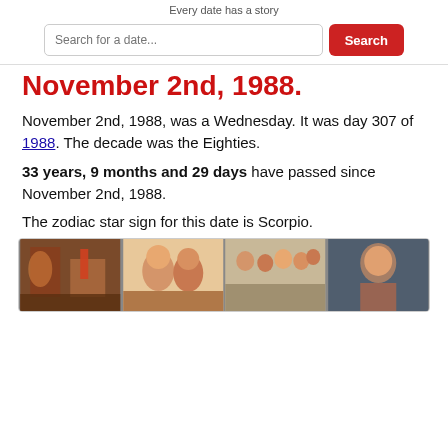Every date has a story
Search for a date...
November 2nd, 1988.
November 2nd, 1988, was a Wednesday. It was day 307 of 1988. The decade was the Eighties.
33 years, 9 months and 29 days have passed since November 2nd, 1988.
The zodiac star sign for this date is Scorpio.
[Figure (photo): A horizontal strip of four photos related to 1988 events and pop culture.]